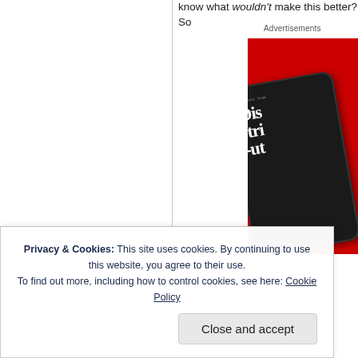know what wouldn't make this better? So
Advertisements
[Figure (photo): Advertisement showing a smartphone with a red background. The phone screen displays large bold white text reading 'Dis-tri-ut' (partial word visible), on a dark screen with 'Now Playing' header. The overall color scheme is red and dark.]
Privacy & Cookies: This site uses cookies. By continuing to use this website, you agree to their use.
To find out more, including how to control cookies, see here: Cookie Policy
Close and accept